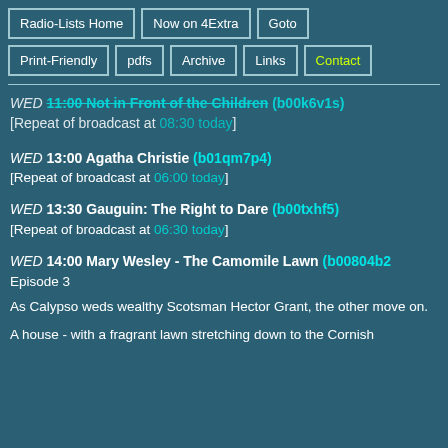Radio-Lists Home | Now on 4Extra | Goto | Print-Friendly | pdfs | Archive | Links | Contact
WED ~~11:00 Not in Front of the Children~~ (b00k6v1s)
[Repeat of broadcast at 08:30 today]
WED 13:00 Agatha Christie (b01qm7p4)
[Repeat of broadcast at 06:00 today]
WED 13:30 Gauguin: The Right to Dare (b00txhf5)
[Repeat of broadcast at 06:30 today]
WED 14:00 Mary Wesley - The Camomile Lawn (b00804b2) Episode 3
As Calypso weds wealthy Scotsman Hector Grant, the other move on.
A house - with a fragrant lawn stretching down to the Cornish